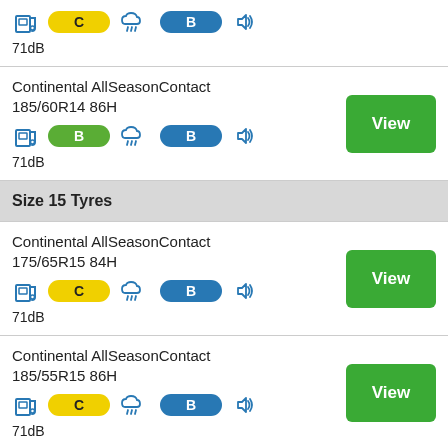[Figure (infographic): Top partial product row: fuel pump icon, yellow C badge, rain cloud icon, blue B badge, sound icon]
71dB
Continental AllSeasonContact 185/60R14 86H
[Figure (infographic): Product row icons: fuel pump icon, green B badge, rain cloud icon, blue B badge, sound icon]
71dB
Size 15 Tyres
Continental AllSeasonContact 175/65R15 84H
[Figure (infographic): Product row icons: fuel pump icon, yellow C badge, rain cloud icon, blue B badge, sound icon]
71dB
Continental AllSeasonContact 185/55R15 86H
[Figure (infographic): Product row icons: fuel pump icon, yellow C badge, rain cloud icon, blue B badge, sound icon]
71dB